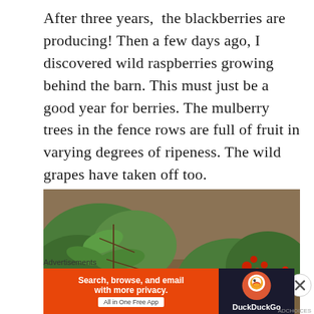After three years,  the blackberries are producing! Then a few days ago, I discovered wild raspberries growing behind the barn. This must just be a good year for berries. The mulberry trees in the fence rows are full of fruit in varying degrees of ripeness. The wild grapes have taken off too.
[Figure (photo): Outdoor photo of wild berry plants with red and dark berries visible among green leaves, against a brown earthy background]
Advertisements
[Figure (screenshot): DuckDuckGo advertisement banner: left orange section reads 'Search, browse, and email with more privacy. All in One Free App', right dark section shows DuckDuckGo logo and name]
ADCHOICES